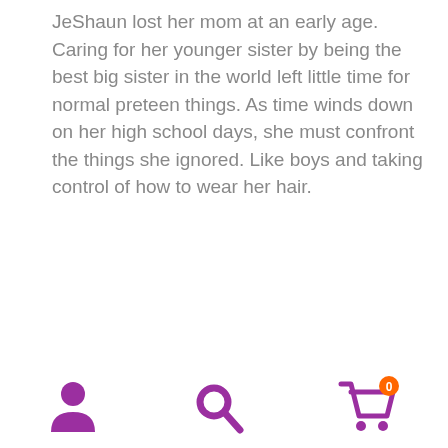JeShaun lost her mom at an early age. Caring for her younger sister by being the best big sister in the world left little time for normal preteen things. As time winds down on her high school days, she must confront the things she ignored. Like boys and taking control of how to wear her hair.
Me, My Hair, and I Natural Sistahs women's fiction Book 3
[Figure (infographic): Bottom navigation bar with three icons: a purple person/user icon on the left, a purple magnifying glass/search icon in the center, and a purple shopping cart icon with a badge showing '0' on the right.]